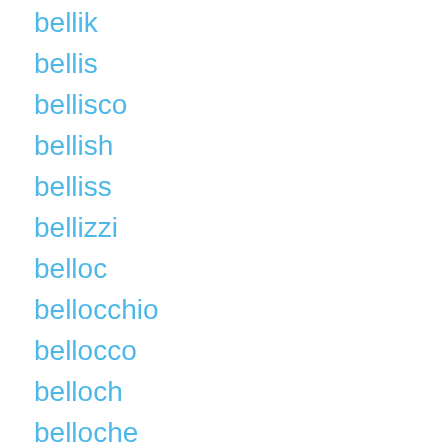bellik
bellis
bellisco
bellish
belliss
bellizzi
belloc
bellocchio
bellocco
belloch
belloche
bellochi
bellock
bellocq
bellois